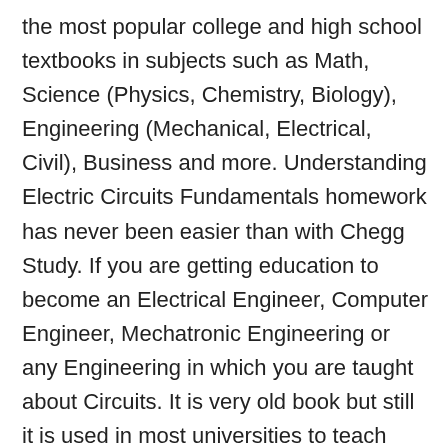the most popular college and high school textbooks in subjects such as Math, Science (Physics, Chemistry, Biology), Engineering (Mechanical, Electrical, Civil), Business and more. Understanding Electric Circuits Fundamentals homework has never been easier than with Chegg Study. If you are getting education to become an Electrical Engineer, Computer Engineer, Mechatronic Engineering or any Engineering in which you are taught about Circuits. It is very old book but still it is used in most universities to teach Basics of Circuit Analysis .
Solutions Manuals are available for thousands of the most popular college and high school